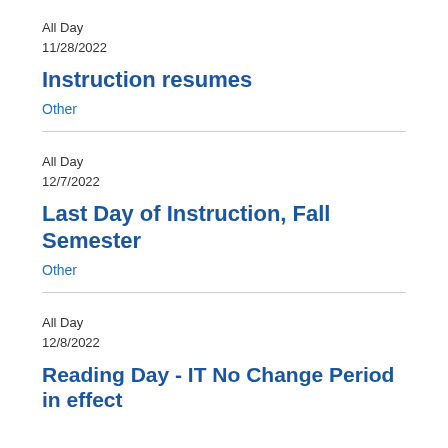All Day
11/28/2022
Instruction resumes
Other
All Day
12/7/2022
Last Day of Instruction, Fall Semester
Other
All Day
12/8/2022
Reading Day - IT No Change Period in effect